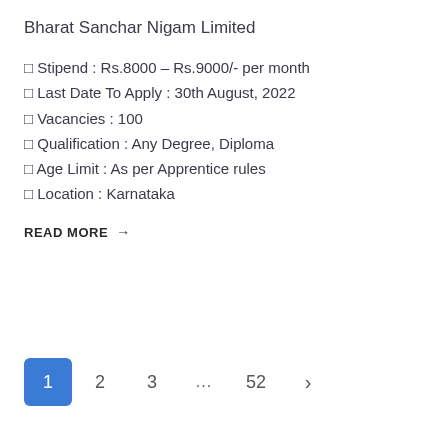Bharat Sanchar Nigam Limited
Stipend : Rs.8000 – Rs.9000/- per month
Last Date To Apply : 30th August, 2022
Vacancies : 100
Qualification : Any Degree, Diploma
Age Limit : As per Apprentice rules
Location : Karnataka
READ MORE →
1  2  3  ...  52  >